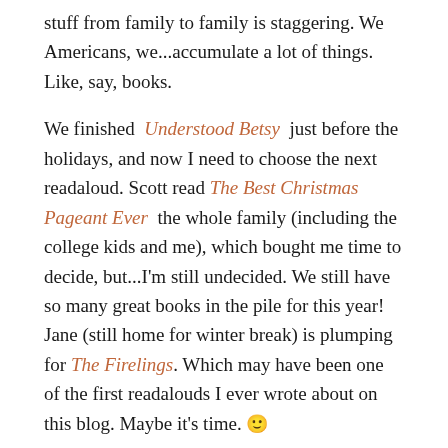stuff from family to family is staggering. We Americans, we...accumulate a lot of things. Like, say, books.
We finished Understood Betsy just before the holidays, and now I need to choose the next readaloud. Scott read The Best Christmas Pageant Ever the whole family (including the college kids and me), which bought me time to decide, but...I'm still undecided. We still have so many great books in the pile for this year! Jane (still home for winter break) is plumping for The Firelings. Which may have been one of the first readalouds I ever wrote about on this blog. Maybe it's time. 🙂
6.
After the morning's bookcase jamboree, I took the younger kids to the playground. I've been a lot better about this lately—you know my older girls practically grew up at local parks, but rhythms change when you